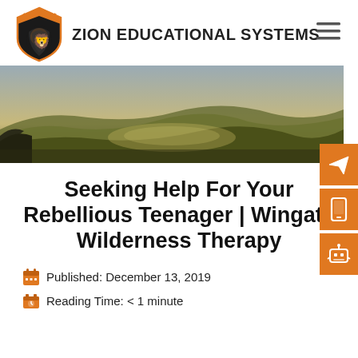[Figure (logo): Zion Educational Systems logo with orange and black shield and lion emblem, text ZION EDUCATIONAL SYSTEMS]
[Figure (photo): Landscape photo of rolling green and golden hills under an overcast sky]
Seeking Help For Your Rebellious Teenager | Wingate Wilderness Therapy
Published: December 13, 2019
Reading Time: < 1 minute